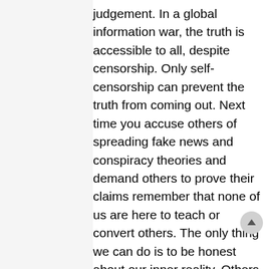judgement. In a global information war, the truth is accessible to all, despite censorship. Only self-censorship can prevent the truth from coming out. Next time you accuse others of spreading fake news and conspiracy theories and demand others to prove their claims remember that none of us are here to teach or convert others. The only thing we can do is to be honest about our inner reality. Others will understand, if they are there to understand.

Archbishop Vigano speaks in a video that the Church of Jesus Christ is under serious attack. Some even say